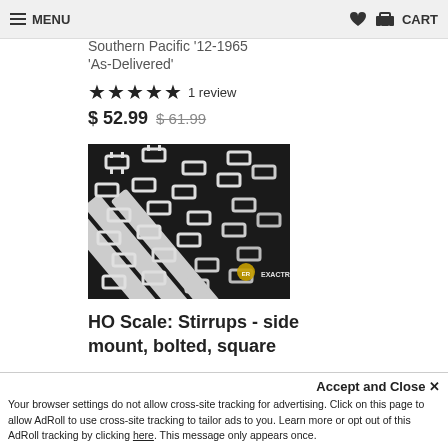MENU | CART
Southern Pacific '12-1965
'As-Delivered'
★★★★★ 1 review
$ 52.99  $ 61.99
[Figure (photo): Close-up photo of white plastic model train stirrups on a dark background, with ExactRail logo watermark]
HO Scale: Stirrups - side mount, bolted, square
Accept and Close ×
Your browser settings do not allow cross-site tracking for advertising. Click on this page to allow AdRoll to use cross-site tracking to tailor ads to you. Learn more or opt out of this AdRoll tracking by clicking here. This message only appears once.